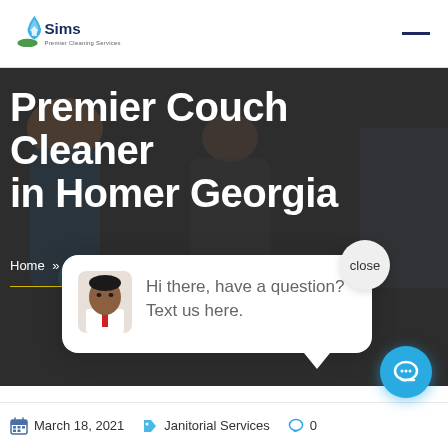Sims Premier Cleaning Services
Premier Couch Cleaner in Homer Georgia
Home » Blog » Janitorial Services » Premier Couch Cleaner in Homer Georgia
close
Hi there, have a question? Text us here.
March 18, 2021    Janitorial Services    0